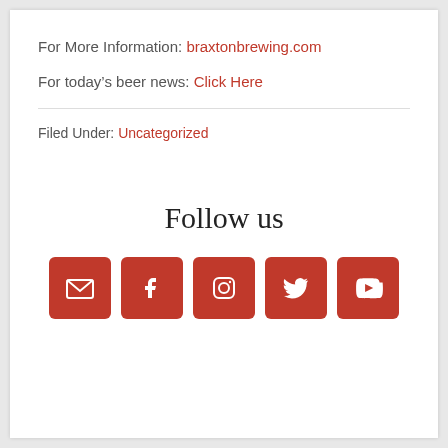For More Information: braxtonbrewing.com
For today's beer news: Click Here
Filed Under: Uncategorized
Follow us
[Figure (infographic): Five social media icon buttons in red: email, Facebook, Instagram, Twitter, YouTube]